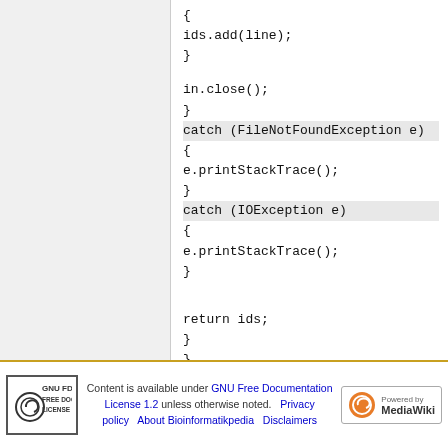{
ids.add(line);
}

in.close();
}
catch (FileNotFoundException e)
{
e.printStackTrace();
}
catch (IOException e)
{
e.printStackTrace();
}


return ids;
}
}
Content is available under GNU Free Documentation License 1.2 unless otherwise noted. Privacy policy About Bioinformatikpedia Disclaimers